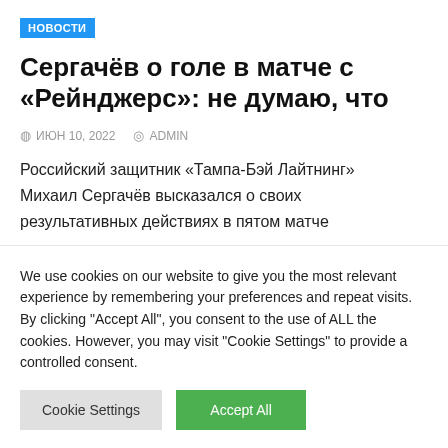НОВОСТИ
Сергачёв о голе в матче с «Рейнджерс»: не думаю, что
ИЮН 10, 2022   ADMIN
Российский защитник «Тампа-Бэй Лайтнинг» Михаил Сергачёв высказался о своих результативных действиях в пятом матче
We use cookies on our website to give you the most relevant experience by remembering your preferences and repeat visits. By clicking "Accept All", you consent to the use of ALL the cookies. However, you may visit "Cookie Settings" to provide a controlled consent.
Cookie Settings   Accept All